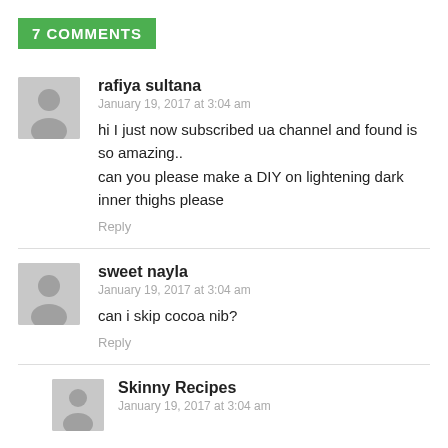7 COMMENTS
rafiya sultana
January 19, 2017 at 3:04 am
hi I just now subscribed ua channel and found is so amazing..
can you please make a DIY on lightening dark inner thighs please
Reply
sweet nayla
January 19, 2017 at 3:04 am
can i skip cocoa nib?
Reply
Skinny Recipes
January 19, 2017 at 3:04 am